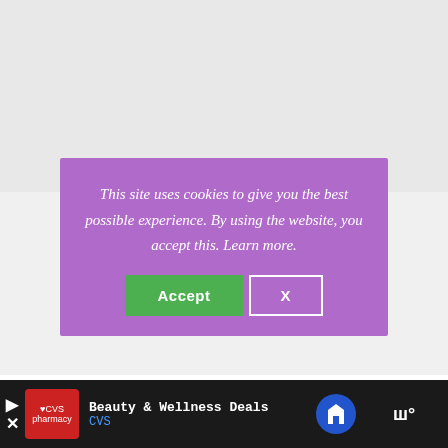[Figure (screenshot): Cookie consent banner with purple background showing message 'This site uses cookies to give you the best possible experience. By using the website, you accept this. Learn more.' with Accept (green) and X (outlined) buttons]
Product Line: Handicrafter Cotton
Weight: Medium (4)
[Figure (screenshot): Bottom advertisement bar showing CVS Pharmacy 'Beauty & Wellness Deals' advertisement with CVS logo, navigation arrow icon, and a 'w°' logo on the right]